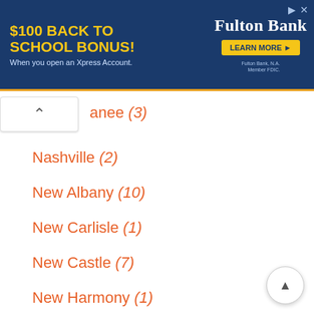[Figure (other): Fulton Bank advertisement banner: '$100 BACK TO SCHOOL BONUS! When you open an Xpress Account.' with a LEARN MORE button and Fulton Bank logo on dark blue background.]
anee (3)
Nashville (2)
New Albany (10)
New Carlisle (1)
New Castle (7)
New Harmony (1)
New Haven (3)
New Paris (1)
New Salisbury (2)
New Whiteland (1)